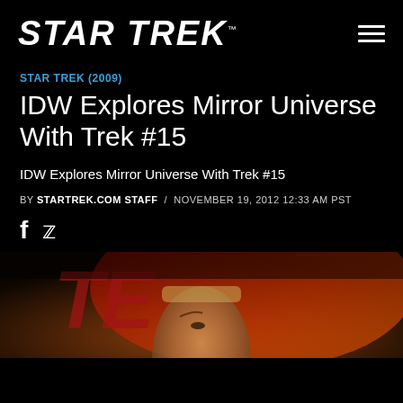STAR TREK™
STAR TREK (2009)
IDW Explores Mirror Universe With Trek #15
IDW Explores Mirror Universe With Trek #15
BY STARTREK.COM STAFF / NOVEMBER 19, 2012 12:33 AM PST
[Figure (photo): Comic book cover art showing a Spock-like character with pointed ears, blond hair, with red and orange graphic design elements and partial text 'TE' visible in background]